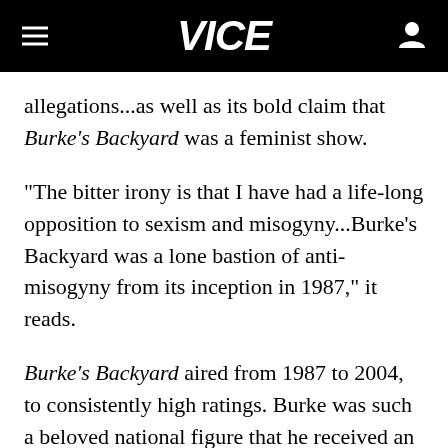VICE
allegations...as well as its bold claim that Burke's Backyard was a feminist show.
"The bitter irony is that I have had a life-long opposition to sexism and misogyny...Burke's Backyard was a lone bastion of anti-misogyny from its inception in 1987," it reads.
Burke's Backyard aired from 1987 to 2004, to consistently high ratings. Burke was such a beloved national figure that he received an Order of Australia in 2010. Disturbingly, Channel Nine appears to have been very much aware of